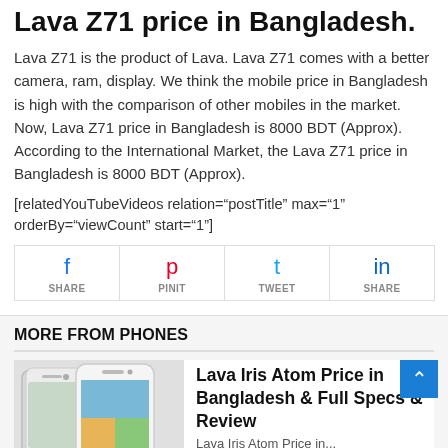Lava Z71 price in Bangladesh.
Lava Z71 is the product of Lava. Lava Z71 comes with a better camera, ram, display. We think the mobile price in Bangladesh is high with the comparison of other mobiles in the market. Now, Lava Z71 price in Bangladesh is 8000 BDT (Approx). According to the International Market, the Lava Z71 price in Bangladesh is 8000 BDT (Approx).
[relatedYouTubeVideos relation="postTitle" max="1" orderBy="viewCount" start="1"]
[Figure (infographic): Social sharing buttons: Facebook Share, Pinterest Pinit, Twitter Tweet, LinkedIn Share]
MORE FROM PHONES
[Figure (photo): Image of Lava Iris Atom smartphone, white, showing front and side view]
Lava Iris Atom Price in Bangladesh & Full Specs & Review
Lava Iris Atom Price in...